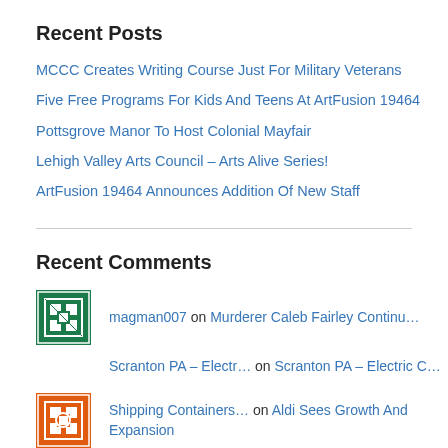Recent Posts
MCCC Creates Writing Course Just For Military Veterans
Five Free Programs For Kids And Teens At ArtFusion 19464
Pottsgrove Manor To Host Colonial Mayfair
Lehigh Valley Arts Council – Arts Alive Series!
ArtFusion 19464 Announces Addition Of New Staff
Recent Comments
magman007 on Murderer Caleb Fairley Continu…
Scranton PA – Electr… on Scranton PA – Electric C…
Shipping Containers… on Aldi Sees Growth And Expansion
Michael Kuznar on Phoenixville Borough Council T…